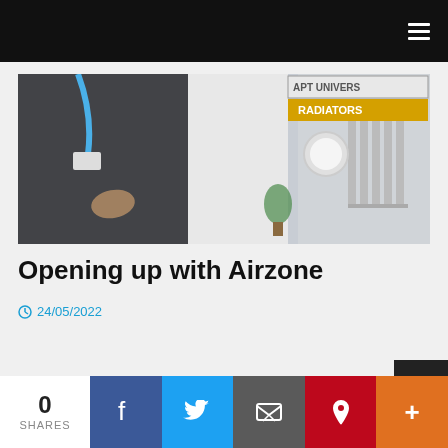Navigation menu header
[Figure (photo): Two people at a trade show or exhibition, one wearing a blue lanyard and suit, another in white lab coat; radiators and HVAC equipment visible in background with signage reading 'APT UNIVERS RADIATORS']
Opening up with Airzone
24/05/2022
0 SHARES | Facebook | Twitter | Email | Pinterest | More